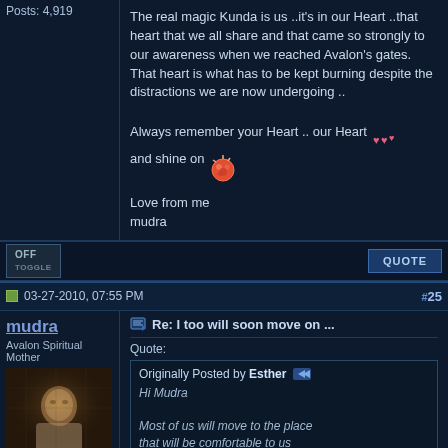Posts: 4,919
The real magic Kunda is us ..it's in our Heart ..that heart that we all share and that came so strongly to our awareness when we reached Avalon's gates.
That heart is what has to be kept burning despite the distractions we are now undergoing ..

Always remember your Heart .. our Heart and shine on

Love from me
mudra
OFF
QUOTE
03-27-2010, 07:55 PM
#25
mudra
Avalon Spiritual Mother
Re: I too will soon move on ...
Quote:
Originally Posted by Esther
Hi Mudra

Most of us will move to the place that will be comfortable to us